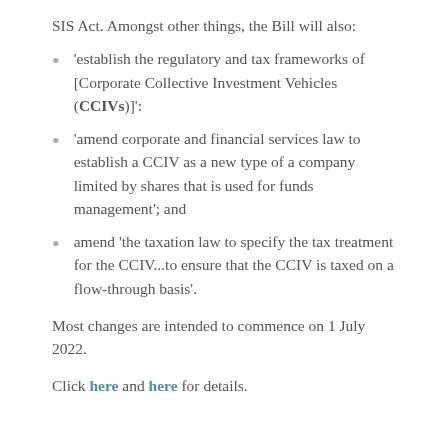SIS Act. Amongst other things, the Bill will also:
'establish the regulatory and tax frameworks of [Corporate Collective Investment Vehicles (CCIVs)]':
'amend corporate and financial services law to establish a CCIV as a new type of a company limited by shares that is used for funds management'; and
amend 'the taxation law to specify the tax treatment for the CCIV...to ensure that the CCIV is taxed on a flow-through basis'.
Most changes are intended to commence on 1 July 2022.
Click here and here for details.